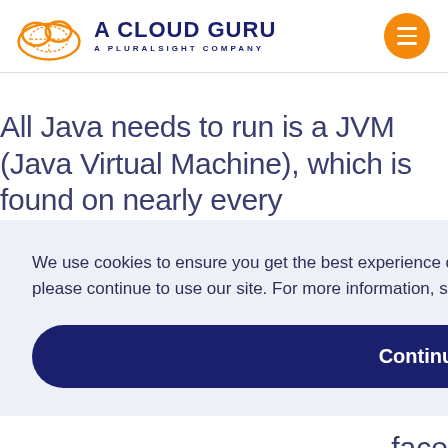[Figure (logo): A Cloud Guru logo with orange cloud icon and dark blue text 'A CLOUD GURU / A PLURALSIGHT COMPANY']
All Java needs to run is a JVM (Java Virtual Machine), which is found on nearly every
We use cookies to ensure you get the best experience on our website. If you agree to our use of cookies, please continue to use our site. For more information, see our privacy policy.
Continue
nity ve face